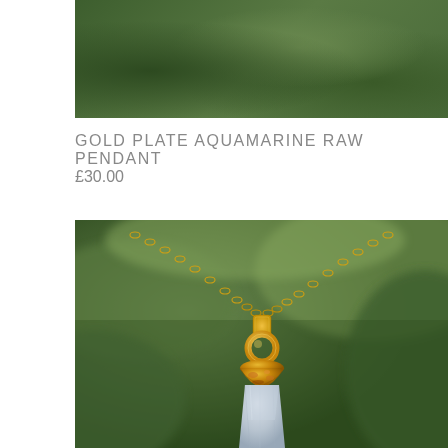[Figure (photo): Top portion of a green leafy plant background, cropped at the top of the page]
GOLD PLATE AQUAMARINE RAW PENDANT
£30.00
[Figure (photo): Close-up photo of a gold plate aquamarine raw pendant on a gold chain, with a blurred green leafy background. The pendant features a raw pale blue/grey aquamarine stone with a gold-plated top cap and gold ring bail.]